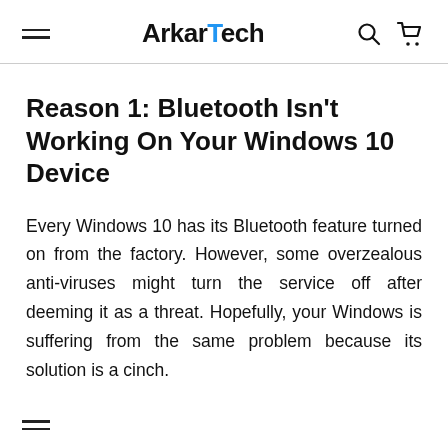ArkarTech
Reason 1: Bluetooth Isn't Working On Your Windows 10 Device
Every Windows 10 has its Bluetooth feature turned on from the factory. However, some overzealous anti-viruses might turn the service off after deeming it as a threat. Hopefully, your Windows is suffering from the same problem because its solution is a cinch.